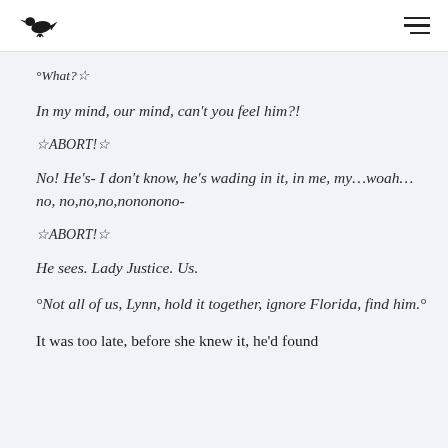[crow logo] [hamburger menu]
°What?☆
In my mind, our mind, can't you feel him?!
☆ABORT!☆
No! He's- I don't know, he's wading in it, in me, my…woah…no, no,no,no,nononono-
☆ABORT!☆
He sees. Lady Justice. Us.
°Not all of us, Lynn, hold it together, ignore Florida, find him.°
It was too late, before she knew it, he'd found